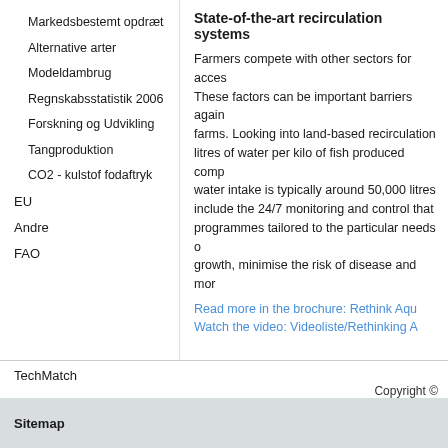Markedsbestemt opdræt
Alternative arter
Modeldambrug
Regnskabsstatistik 2006
Forskning og Udvikling
Tangproduktion
CO2 - kulstof fodaftryk
EU
Andre
FAO
TechMatch
State-of-the-art recirculation systems
Farmers compete with other sectors for access. These factors can be important barriers against farms. Looking into land-based recirculation litres of water per kilo of fish produced compared water intake is typically around 50,000 litres include the 24/7 monitoring and control that programmes tailored to the particular needs growth, minimise the risk of disease and more.
Read more in the brochure: Rethink Aqua
Watch the video: Videoliste/Rethinking A
Copyright ©
Sitemap